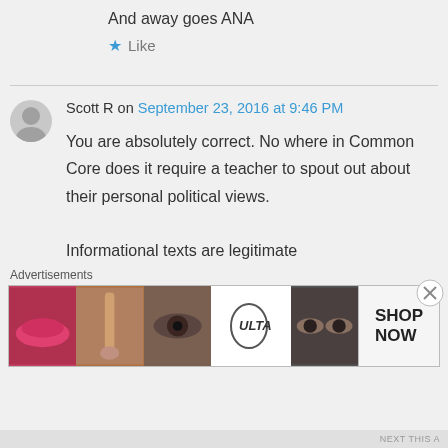And away goes ANA
★ Like
Scott R on September 23, 2016 at 9:46 PM
You are absolutely correct. No where in Common Core does it require a teacher to spout out about their personal political views.

Informational texts are legitimate
Advertisements
[Figure (photo): Advertisement banner showing beauty/makeup products with ULTA logo and SHOP NOW button]